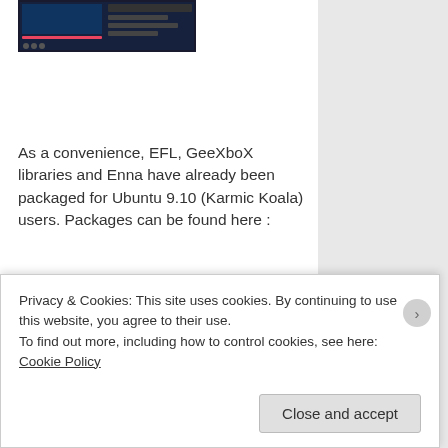[Figure (screenshot): Screenshot thumbnail of a dark-themed media center UI]
As a convenience, EFL, GeeXboX libraries and Enna have already been packaged for Ubuntu 9.10 (Karmic Koala) users. Packages can be found here :
http://packages.geexbox.org/
just add this line on your /etc/apt/sources.list file :
deb http://packages.geexbox.org/ karmic main
and
sudo apt-get update
Privacy & Cookies: This site uses cookies. By continuing to use this website, you agree to their use.
To find out more, including how to control cookies, see here: Cookie Policy
Close and accept